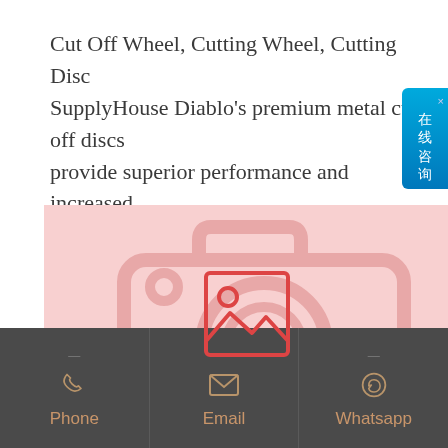Cut Off Wheel, Cutting Wheel, Cutting Disc SupplyHouse Diablo's premium metal cut-off discs provide superior performance and increased productivity. Featuring a premium aluminum oxide blend, [...]
[Figure (photo): Pink placeholder image area with faded camera watermark icon and a small image placeholder icon in the center]
Phone | Email | Whatsapp